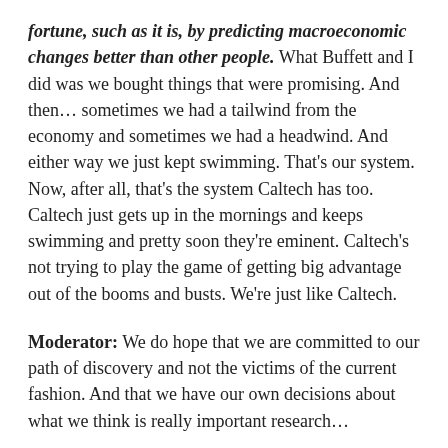fortune, such as it is, by predicting macroeconomic changes better than other people. What Buffett and I did was we bought things that were promising. And then… sometimes we had a tailwind from the economy and sometimes we had a headwind. And either way we just kept swimming. That's our system. Now, after all, that's the system Caltech has too. Caltech just gets up in the mornings and keeps swimming and pretty soon they're eminent. Caltech's not trying to play the game of getting big advantage out of the booms and busts. We're just like Caltech.
Moderator: We do hope that we are committed to our path of discovery and not the victims of the current fashion. And that we have our own decisions about what we think is really important research…
Charlie: Yeah. Oh no, you're trying to get the right